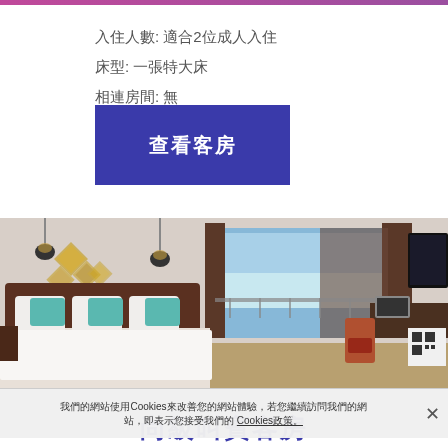入住人數: 適合2位成人入住
床型: 一張特大床
相連房間: 無
查看客房
[Figure (photo): Hotel room interior with large bed, teal pillows, wall art, large windows with brown curtains, desk, chair, and wall-mounted TV]
我們的網站使用Cookies來改善您的網站體驗，若您繼續訪問我們的網站，即表示您接受我們的 Cookies政策。
尚級叫賓客房